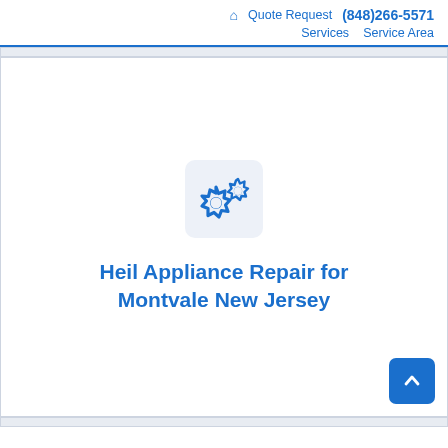🏠 Quote Request (848)266-5571 Services Service Area
[Figure (illustration): Gear/settings icon in a rounded square box with light blue background]
Heil Appliance Repair for Montvale New Jersey